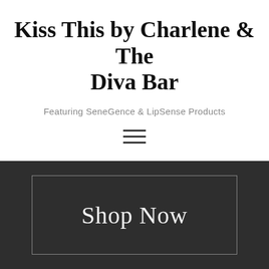Kiss This by Charlene & The Diva Bar
Featuring SeneGence & LipSense Products
[Figure (other): Hamburger menu icon with three horizontal lines]
Shop Now